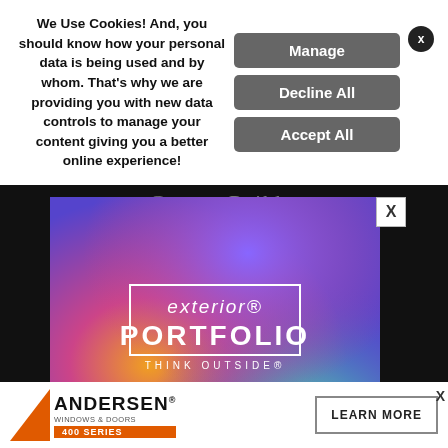We Use Cookies! And, you should know how your personal data is being used and by whom. That's why we are providing you with new data controls to manage your content giving you a better online experience!
[Figure (screenshot): Cookie consent banner with Manage, Decline All, and Accept All buttons and a close X button]
Custom Builder
[Figure (advertisement): Exterior Portfolio windows and doors ad with colorful gradient background, logo, THINK OUTSIDE tagline, and See Our New Colors CTA button]
[Figure (advertisement): Andersen Windows & Doors 400 Series advertisement with Learn More button]